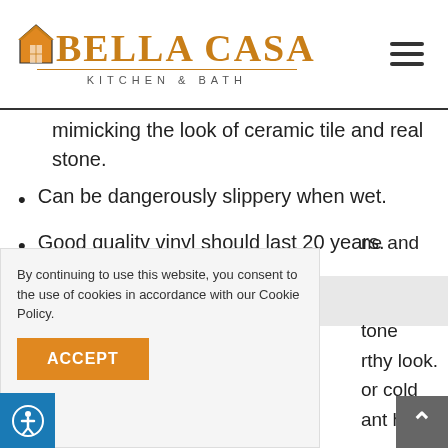Bella Casa Kitchen & Bath
mimicking the look of ceramic tile and real stone.
Can be dangerously slippery when wet.
Good quality vinyl should last 20 years.
STONE
By continuing to use this website, you consent to the use of cookies in accordance with our Cookie Policy.
ne and
tone
rthy look.
or cold
ant heat